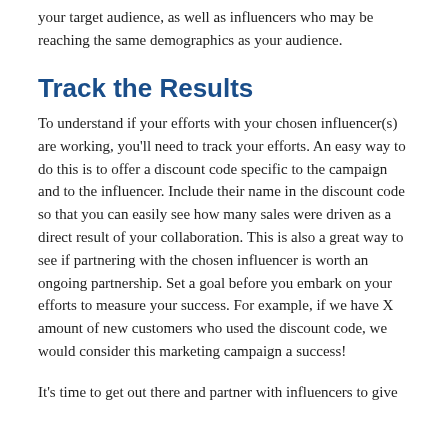your target audience, as well as influencers who may be reaching the same demographics as your audience.
Track the Results
To understand if your efforts with your chosen influencer(s) are working, you'll need to track your efforts. An easy way to do this is to offer a discount code specific to the campaign and to the influencer. Include their name in the discount code so that you can easily see how many sales were driven as a direct result of your collaboration. This is also a great way to see if partnering with the chosen influencer is worth an ongoing partnership. Set a goal before you embark on your efforts to measure your success. For example, if we have X amount of new customers who used the discount code, we would consider this marketing campaign a success!
It's time to get out there and partner with influencers to give